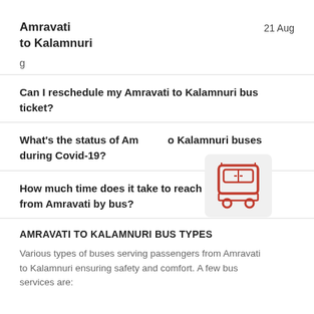Amravati to Kalamnuri
21 Aug
g
Can I reschedule my Amravati to Kalamnuri bus ticket?
What's the status of Amravati to Kalamnuri buses during Covid-19?
[Figure (illustration): Red bus icon on a light grey rounded rectangle background]
How much time does it take to reach Kalamnuri from Amravati by bus?
AMRAVATI TO KALAMNURI BUS TYPES
Various types of buses serving passengers from Amravati to Kalamnuri ensuring safety and comfort. A few bus services are: